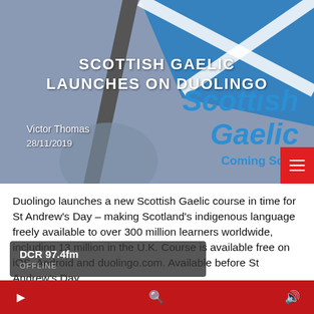[Figure (illustration): Hero image showing Scottish Gaelic Duolingo promotional graphic with a Scottish saltire flag, 'Scottish Gaelic Coming Soon' text in blue, and overlay title 'SCOTTISH GAELIC LAUNCHES ON DUOLINGO']
SCOTTISH GAELIC LAUNCHES ON DUOLINGO
Victor Thomas
28/11/2019
Duolingo launches a new Scottish Gaelic course in time for St Andrew's Day – making Scotland's indigenous language freely available to over 300 million learners worldwide, including 13 million in the U.K. Course is available free on iOS, Android and duolingo.com. Available before St Andrew's Day...
DCR 97.4fm
OFFLINE